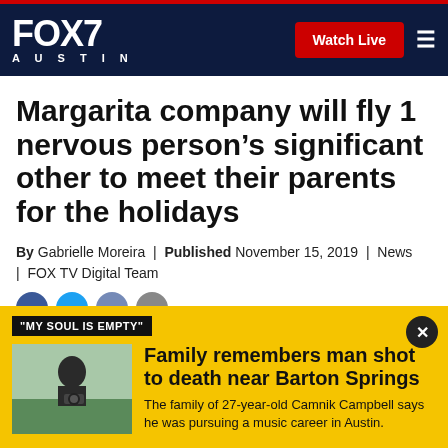FOX 7 AUSTIN | Watch Live
Margarita company will fly 1 nervous person’s significant other to meet their parents for the holidays
By Gabrielle Moreira | Published November 15, 2019 | News | FOX TV Digital Team
[Figure (photo): Photo of man with camera outdoors]
"MY SOUL IS EMPTY"
Family remembers man shot to death near Barton Springs
The family of 27-year-old Camnik Campbell says he was pursuing a music career in Austin.